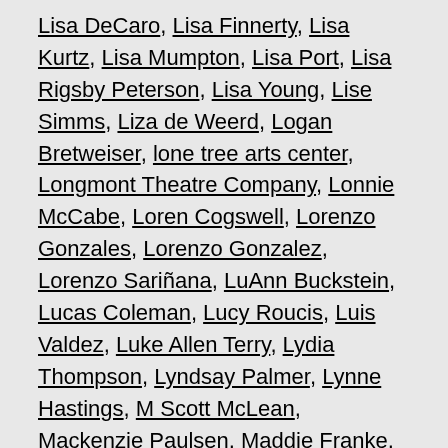Lisa DeCaro, Lisa Finnerty, Lisa Kurtz, Lisa Mumpton, Lisa Port, Lisa Rigsby Peterson, Lisa Young, Lise Simms, Liza de Weerd, Logan Bretweiser, lone tree arts center, Longmont Theatre Company, Lonnie McCabe, Loren Cogswell, Lorenzo Gonzales, Lorenzo Gonzalez, Lorenzo Sariñana, LuAnn Buckstein, Lucas Coleman, Lucy Roucis, Luis Valdez, Luke Allen Terry, Lydia Thompson, Lyndsay Palmer, Lynne Hastings, M Scott McLean, Mackenzie Paulsen, Maddie Franke, Maggie Sczekan, Maggie Tisdale, Maggy Stacy, magic moments, maple and vine, Marc Stith, Marcus Turner, mare trevathan, Margarita Archilla, Margie Lamb, Mariah Becerra, Marissa Rios, Marissa Romer, mark collins, Mark Devine, Mark Dissette, Mark Lively, Mark Rossman, Mark Rubald, Mark Shonsey, Mark Sonnenblink, Markus Warren, Marlin May, Marsha Norman, Marta Occhiuzzo, Martell Harding, Martha Harmon Pardee, Martha Yordy, Martin Estes Jr., Mary